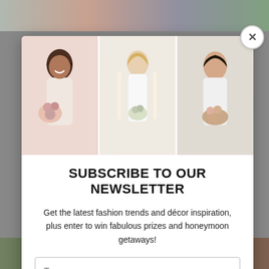[Figure (photo): Three-panel photo collage of women with wedding flowers and bridal styling]
SUBSCRIBE TO OUR NEWSLETTER
Get the latest fashion trends and décor inspiration, plus enter to win fabulous prizes and honeymoon getaways!
Type your name
Type your email
SUBMIT